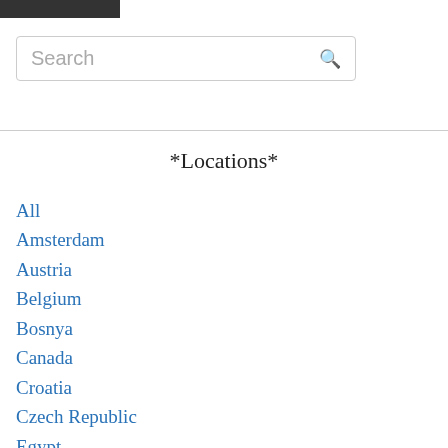[Figure (screenshot): Dark navigation bar element at top of page]
[Figure (screenshot): Search input box with placeholder text 'Search' and a magnifying glass icon on the right]
*Locations*
All
Amsterdam
Austria
Belgium
Bosnya
Canada
Croatia
Czech Republic
Egypt
England
Estonia
France
Germany